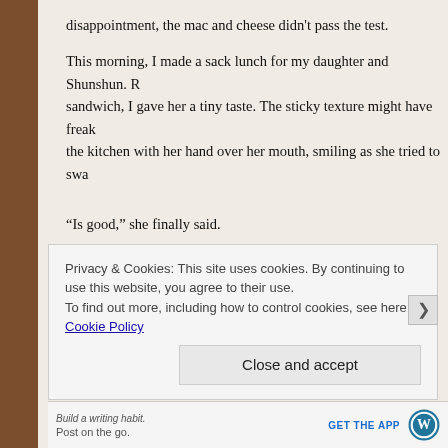disappointment, the mac and cheese didn't pass the test.
This morning, I made a sack lunch for my daughter and Shunshun. R sandwich, I gave her a tiny taste. The sticky texture might have freak the kitchen with her hand over her mouth, smiling as she tried to swa
“Is good,” she finally said.
“You don’t have to like it,” I said laughing.
She laughed with me and replied, “No really, is good.” So, I packed h cheetos (my sense of humor), and trail mix, none of which she has e
Privacy & Cookies: This site uses cookies. By continuing to use this website, you agree to their use.
To find out more, including how to control cookies, see here: Cookie Policy
Close and accept
Build a writing habit. Post on the go. GET THE APP